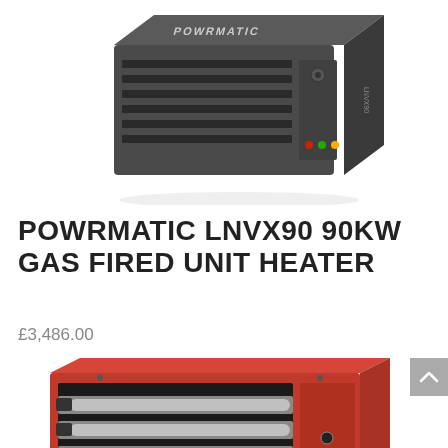[Figure (photo): Photo of a Powrmatic LNVX90 gas fired unit heater — dark grey/charcoal coloured rectangular box with louvred front grille and control panel on the right side. Brand name visible on front.]
POWRMATIC LNVX90 90KW GAS FIRED UNIT HEATER
£3,486.00
[Figure (photo): Photo of a red/orange coloured gas fired unit heater with visible internal tube heat exchanger components through the front opening, mounted in a red metal casing.]